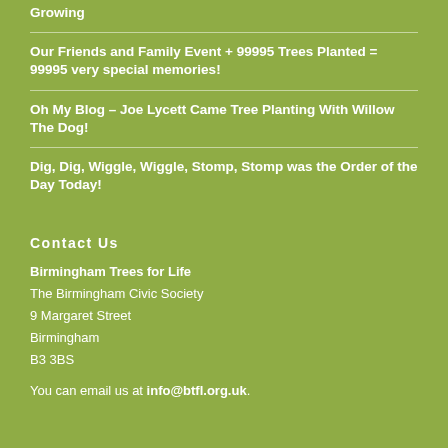Growing
Our Friends and Family Event + 99995 Trees Planted = 99995 very special memories!
Oh My Blog – Joe Lycett Came Tree Planting With Willow The Dog!
Dig, Dig, Wiggle, Wiggle, Stomp, Stomp was the Order of the Day Today!
Contact Us
Birmingham Trees for Life
The Birmingham Civic Society
9 Margaret Street
Birmingham
B3 3BS
You can email us at info@btfl.org.uk.